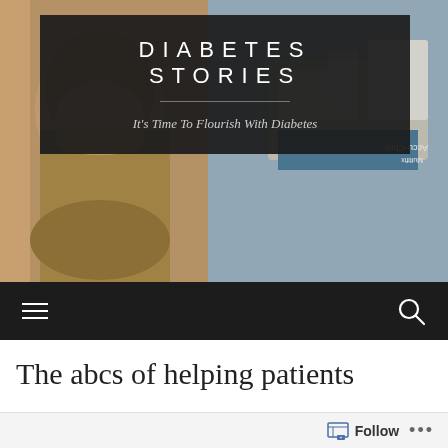[Figure (photo): Hero banner with two overlapping photos: left side shows a woman speaking, right side shows medical/diabetes supplies including an Accu-Chek Multifix box, with a dark semi-transparent overlay box containing the site title and tagline]
DIABETES STORIES
It's Time To Flourish With Diabetes
[Figure (other): Navigation bar with hamburger menu icon on left and search (magnifying glass) icon on right, dark background]
The abcs of helping patients
Follow